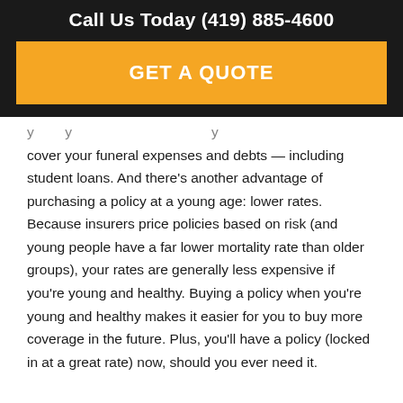Call Us Today (419) 885-4600
GET A QUOTE
cover your funeral expenses and debts — including student loans. And there's another advantage of purchasing a policy at a young age: lower rates. Because insurers price policies based on risk (and young people have a far lower mortality rate than older groups), your rates are generally less expensive if you're young and healthy. Buying a policy when you're young and healthy makes it easier for you to buy more coverage in the future. Plus, you'll have a policy (locked in at a great rate) now, should you ever need it.